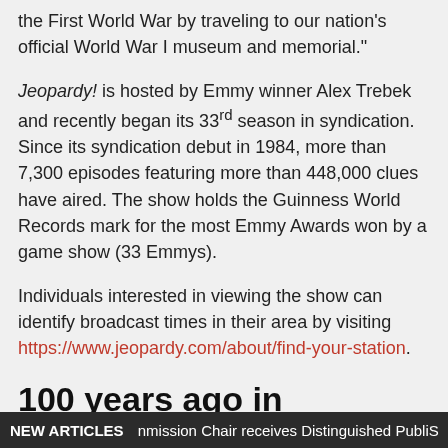the First World War by traveling to our nation's official World War I museum and memorial."
Jeopardy! is hosted by Emmy winner Alex Trebek and recently began its 33rd season in syndication. Since its syndication debut in 1984, more than 7,300 episodes featuring more than 448,000 clues have aired. The show holds the Guinness World Records mark for the most Emmy Awards won by a game show (33 Emmys).
Individuals interested in viewing the show can identify broadcast times in their area by visiting https://www.jeopardy.com/about/find-your-station.
100 years ago in September, tanks changed warfare
NEW ARTICLES   nmission Chair receives Distinguished Public S